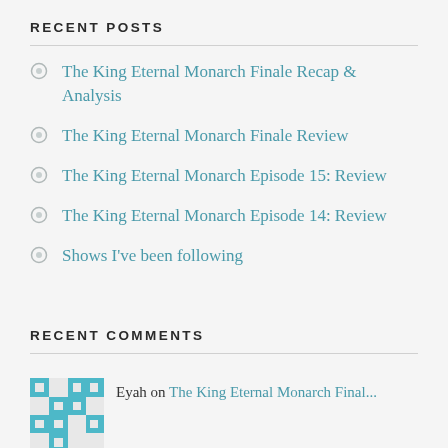RECENT POSTS
The King Eternal Monarch Finale Recap & Analysis
The King Eternal Monarch Finale Review
The King Eternal Monarch Episode 15: Review
The King Eternal Monarch Episode 14: Review
Shows I've been following
RECENT COMMENTS
Eyah on The King Eternal Monarch Final...
sophronia on Are You Human